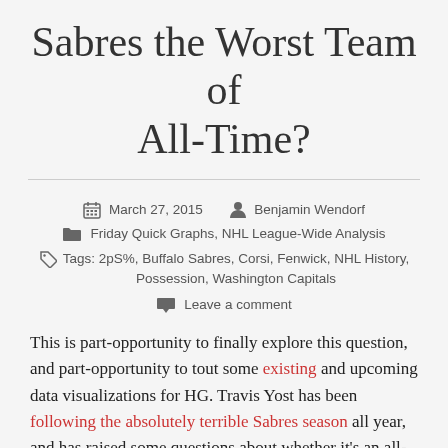Sabres the Worst Team of All-Time?
March 27, 2015   Benjamin Wendorf
Friday Quick Graphs, NHL League-Wide Analysis
Tags: 2pS%, Buffalo Sabres, Corsi, Fenwick, NHL History, Possession, Washington Capitals
Leave a comment
This is part-opportunity to finally explore this question, and part-opportunity to tout some existing and upcoming data visualizations for HG. Travis Yost has been following the absolutely terrible Sabres season all year, and has raised some questions about whether it's an all-time worst team. He's only been able to reach